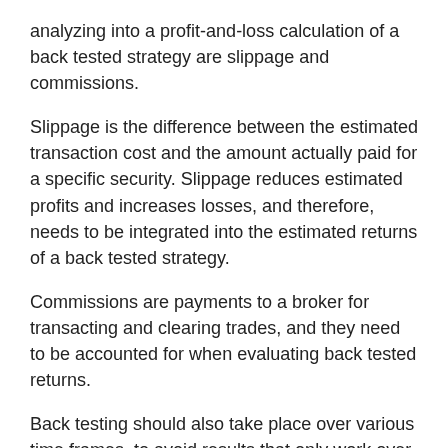analyzing into a profit-and-loss calculation of a back tested strategy are slippage and commissions.
Slippage is the difference between the estimated transaction cost and the amount actually paid for a specific security. Slippage reduces estimated profits and increases losses, and therefore, needs to be integrated into the estimated returns of a back tested strategy.
Commissions are payments to a broker for transacting and clearing trades, and they need to be accounted for when evaluating back tested returns.
Back testing should also take place over various time frames, to avoid results that only work over a small sample period.  Investors should understand that historical results on a trading strategy are not a guarantee that a strategy will work in the future.
In the simplest of terms, a back test is a method of choice for creating a strategy that has worked in the past and might or might